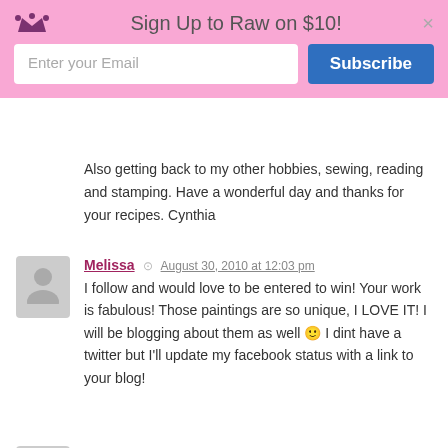Sign Up to Raw on $10!
Also getting back to my other hobbies, sewing, reading and stamping. Have a wonderful day and thanks for your recipes. Cynthia
Melissa — August 30, 2010 at 12:03 pm
I follow and would love to be entered to win! Your work is fabulous! Those paintings are so unique, I LOVE IT! I will be blogging about them as well 🙂 I dint have a twitter but I'll update my facebook status with a link to your blog!
Rachael — August 30, 2010 at 12:26 pm
I love the paintings! I used to be working full time and taking classes but right now I'm just laying low and taking time to heal.
Blaine — August 30, 2010 at 1:36 pm